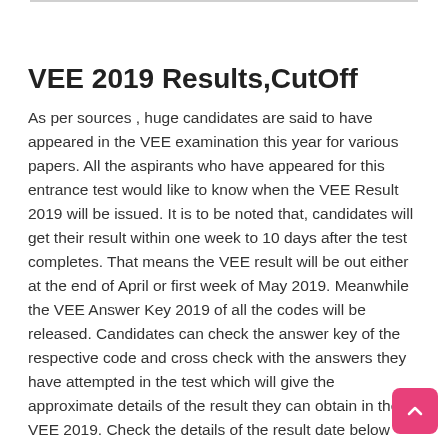VEE 2019 Results,CutOff
As per sources , huge candidates are said to have appeared in the VEE examination this year for various papers. All the aspirants who have appeared for this entrance test would like to know when the VEE Result 2019 will be issued. It is to be noted that, candidates will get their result within one week to 10 days after the test completes. That means the VEE result will be out either at the end of April or first week of May 2019. Meanwhile the VEE Answer Key 2019 of all the codes will be released. Candidates can check the answer key of the respective code and cross check with the answers they have attempted in the test which will give the approximate details of the result they can obtain in the VEE 2019. Check the details of the result date below which will help for your reference.
Also Check : OUCET 2019 Result,Rank,Merit List